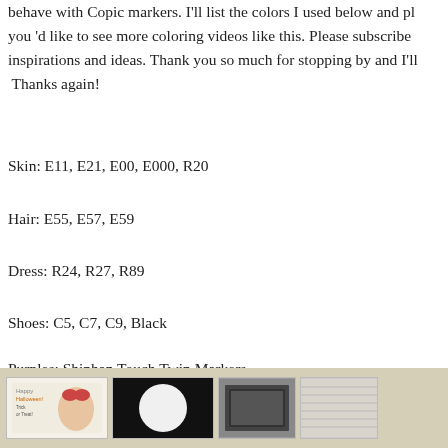behave with Copic markers.  I'll list the colors I used below and please let me know if you 'd like to see more coloring videos like this.  Please subscribe for more stamping inspirations and ideas.  Thank you so much for stopping by and I'll see you real soon!  Thanks again!
Skin: E11, E21, E00, E000, R20
Hair: E55, E57, E59
Dress: R24, R27, R89
Shoes: C5, C7, C9, Black
Purples: Shinhan Touch Twin Markers
http://www.papertemptress.com
— inlinkz code start ->
[Figure (photo): Thumbnail strip at the bottom showing four small images of crafting/stamping projects]